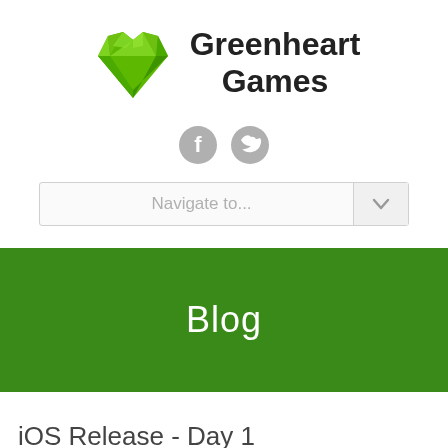[Figure (logo): Greenheart Games logo: green gem-shaped heart icon next to bold text 'Greenheart Games']
[Figure (infographic): Two gray circular social media icons: Facebook (f) and Twitter (bird)]
[Figure (screenshot): Navigation dropdown bar with text 'Navigate to...' and a chevron button on the right]
Blog
iOS Release - Day 1 Analysis: A Rough Start